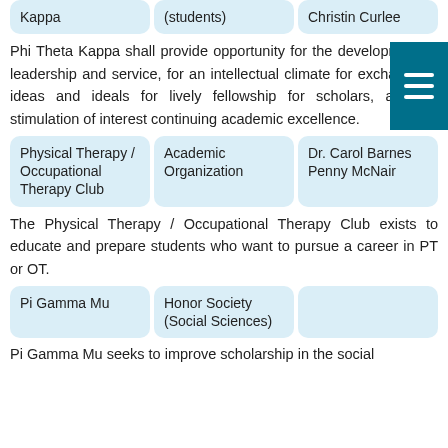| Kappa | (students) | Christin Curlee |
Phi Theta Kappa shall provide opportunity for the development of leadership and service, for an intellectual climate for exchange of ideas and ideals for lively fellowship for scholars, and for stimulation of interest continuing academic excellence.
| Physical Therapy / Occupational Therapy Club | Academic Organization | Dr. Carol Barnes
Penny McNair |
The Physical Therapy / Occupational Therapy Club exists to educate and prepare students who want to pursue a career in PT or OT.
| Pi Gamma Mu | Honor Society (Social Sciences) |  |
Pi Gamma Mu seeks to improve scholarship in the social